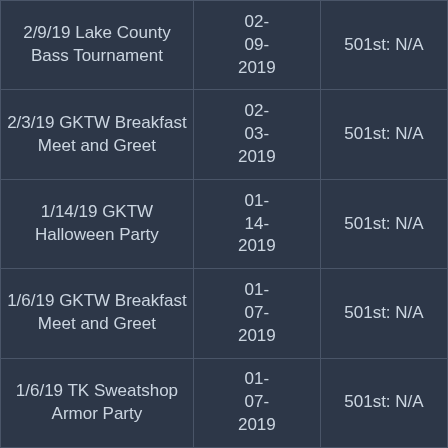| 2/9/19 Lake County Bass Tournament | 02-09-2019 | 501st: N/A |
| 2/3/19 GKTW Breakfast Meet and Greet | 02-03-2019 | 501st: N/A |
| 1/14/19 GKTW Halloween Party | 01-14-2019 | 501st: N/A |
| 1/6/19 GKTW Breakfast Meet and Greet | 01-07-2019 | 501st: N/A |
| 1/6/19 TK Sweatshop Armor Party | 01-07-2019 | 501st: N/A |